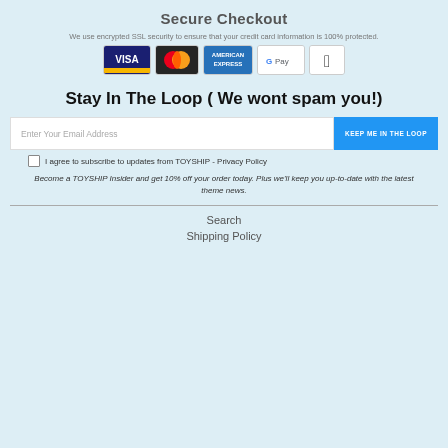Secure Checkout
We use encrypted SSL security to ensure that your credit card information is 100% protected.
[Figure (infographic): Payment method icons: Visa, Mastercard, American Express, Google Pay, Apple Pay]
Stay In The Loop ( We wont spam you!)
Enter Your Email Address
KEEP ME IN THE LOOP
I agree to subscribe to updates from TOYSHIP - Privacy Policy
Become a TOYSHIP Insider and get 10% off your order today. Plus we'll keep you up-to-date with the latest theme news.
Search
Shipping Policy